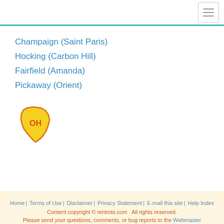Champaign (Saint Paris)
Hocking (Carbon Hill)
Fairfield (Amanda)
Pickaway (Orient)
[Figure (illustration): Ohio state shape icon with 'OH' text in orange on a yellow background with orange border]
Home | Terms of Use | Disclaimer | Privacy Statement | E-mail this site | Help Index
Content copyright © rentmls.com   All rights reserved.
Please send your questions, comments, or bug reports to the Webmaster
Partners: LeaseMLS